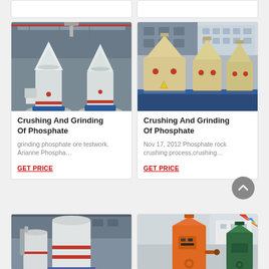[Figure (photo): Partial top card left — industrial grinding machine, truncated at top]
[Figure (photo): Partial top card right — industrial crusher machines, truncated at top]
[Figure (photo): Photo of white cone crusher / grinding mill machines in factory]
Crushing And Grinding Of Phosphate
grinding phosphate ore testwork. Arianne Phospha…
GET PRICE
[Figure (photo): Photo of large yellow/beige cone crusher machines outdoors on blue steel frames]
Crushing And Grinding Of Phosphate
Nov 17, 2012 Phosphate rock crushing process,crushing…
GET PRICE
[Figure (photo): Partial bottom card left — white vertical grinding mill machine in factory]
[Figure (photo): Partial bottom card right — orange and green cone crushers with colorful flags]